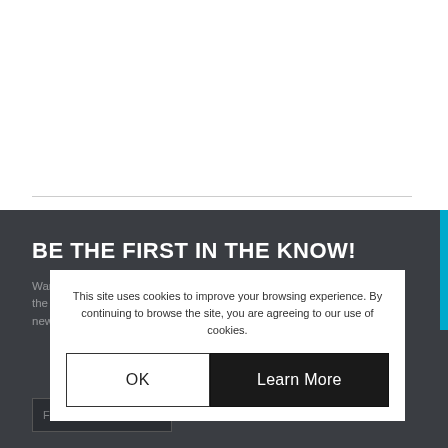[Figure (other): White top section of a webpage, largely blank with a horizontal divider line near the bottom]
BE THE FIRST IN THE KNOW!
Want to stay up to date with the latest opportunities and updates from the peace and justice community? Subscribe to our free monthly newsletter.
This site uses cookies to improve your browsing experience. By continuing to browse the site, you are agreeing to our use of cookies.
OK
Learn More
First Name